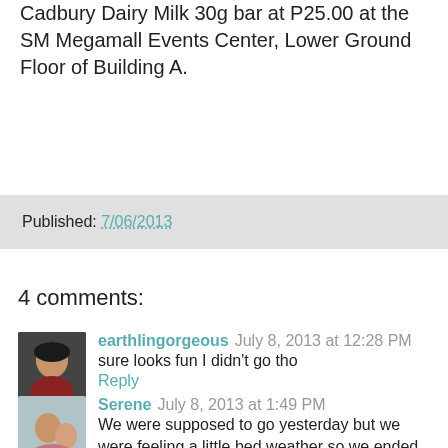Cadbury Dairy Milk 30g bar at P25.00 at the SM Megamall Events Center, Lower Ground Floor of Building A.
Published: 7/06/2013
4 comments:
earthlingorgeous  July 8, 2013 at 12:28 PM
sure looks fun I didn't go tho
Reply
Serene  July 8, 2013 at 1:49 PM
We were supposed to go yesterday but we were feeling a little bed weather so we ended up relaxing on our comforts. But we will definitely go and let the kiddos experience it.
Reply